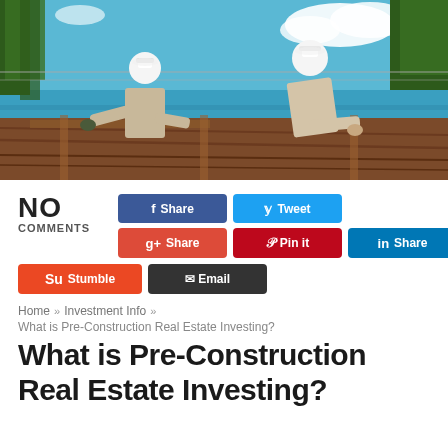[Figure (photo): Two construction workers wearing white hard hats working on a rooftop with wooden boards, ocean and sky visible in the background]
NO
COMMENTS
Share (Facebook) | Tweet (Twitter) | Share (Google+) | Pin it (Pinterest) | Share (LinkedIn) | Stumble | Email
Home » Investment Info »
What is Pre-Construction Real Estate Investing?
What is Pre-Construction Real Estate Investing?